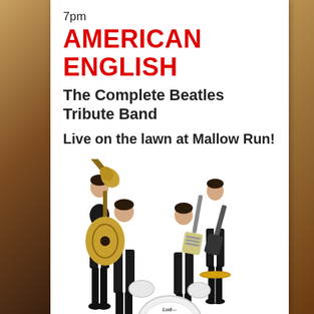7pm
AMERICAN ENGLISH
The Complete Beatles Tribute Band
Live on the lawn at Mallow Run!
[Figure (photo): Four musicians dressed in black suits posing as The Beatles tribute band American English, holding guitars with a drum kit showing the American English logo in the center foreground]
Saturday, September 19th at 7...